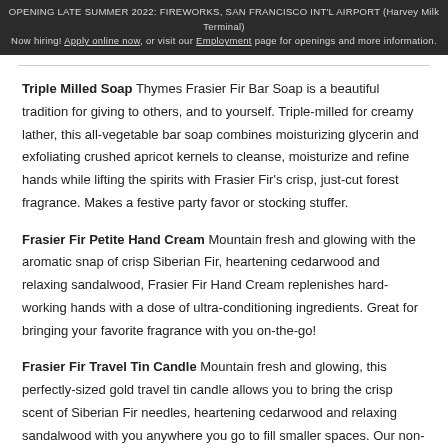OPENING LATE SUMMER 2022: FIREWORKS, SAN FRANCISCO INT'L AIRPORT (Harvey Milk Terminal)
Now hiring! Apply online now, or visit our Employment page for openings and more information.
Triple Milled Soap Thymes Frasier Fir Bar Soap is a beautiful tradition for giving to others, and to yourself. Triple-milled for creamy lather, this all-vegetable bar soap combines moisturizing glycerin and exfoliating crushed apricot kernels to cleanse, moisturize and refine hands while lifting the spirits with Frasier Fir's crisp, just-cut forest fragrance. Makes a festive party favor or stocking stuffer.
Frasier Fir Petite Hand Cream Mountain fresh and glowing with the aromatic snap of crisp Siberian Fir, heartening cedarwood and relaxing sandalwood, Frasier Fir Hand Cream replenishes hard-working hands with a dose of ultra-conditioning ingredients. Great for bringing your favorite fragrance with you on-the-go!
Frasier Fir Travel Tin Candle Mountain fresh and glowing, this perfectly-sized gold travel tin candle allows you to bring the crisp scent of Siberian Fir needles, heartening cedarwood and relaxing sandalwood with you anywhere you go to fill smaller spaces. Our non-metal wick provides a